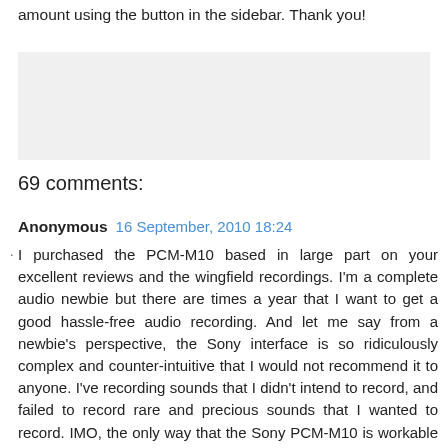amount using the button in the sidebar. Thank you!
[Figure (other): Gray advertisement/banner placeholder box]
69 comments:
Anonymous  16 September, 2010 18:24
I purchased the PCM-M10 based in large part on your excellent reviews and the wingfield recordings. I'm a complete audio newbie but there are times a year that I want to get a good hassle-free audio recording. And let me say from a newbie's perspective, the Sony interface is so ridiculously complex and counter-intuitive that I would not recommend it to anyone. I've recording sounds that I didn't intend to record, and failed to record rare and precious sounds that I wanted to record. IMO, the only way that the Sony PCM-M10 is workable is if you use it a few times a week so you can master its interface flaws.
Reply